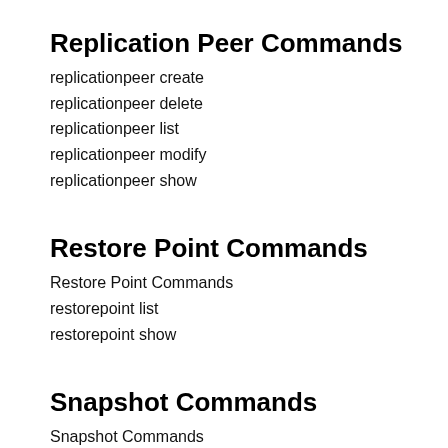Replication Peer Commands
replicationpeer create
replicationpeer delete
replicationpeer list
replicationpeer modify
replicationpeer show
Restore Point Commands
Restore Point Commands
restorepoint list
restorepoint show
Snapshot Commands
Snapshot Commands
snapshot create